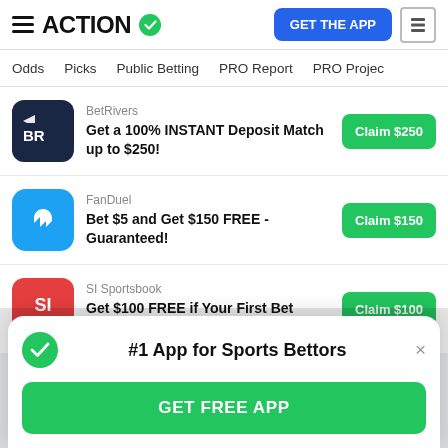ACTION — GET THE APP
Odds  Picks  Public Betting  PRO Report  PRO Project
BetRivers — Get a 100% INSTANT Deposit Match up to $250! — Claim $250
FanDuel — Bet $5 and Get $150 FREE - Guaranteed! — Claim $150
SI Sportsbook — Get $100 FREE if Your First Bet Wins! — Claim $100
#1 App for Sports Bettors — GET FREE APP